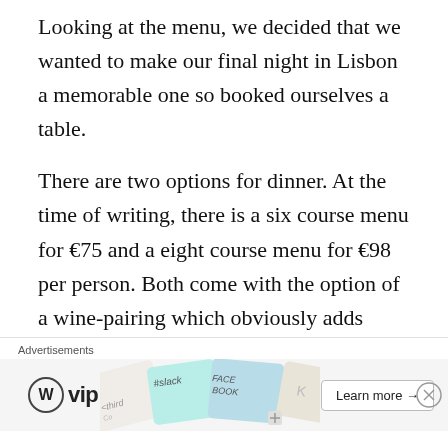Looking at the menu, we decided that we wanted to make our final night in Lisbon a memorable one so booked ourselves a table.
There are two options for dinner. At the time of writing, there is a six course menu for €75 and a eight course menu for €98 per person. Both come with the option of a wine-pairing which obviously adds
[Figure (other): Advertisement banner at the bottom of the page showing WordPress VIP logo on the left, colorful card graphics in the middle (with partial text: third, slack, FACEBOOK), and a 'Learn more →' button on the right.]